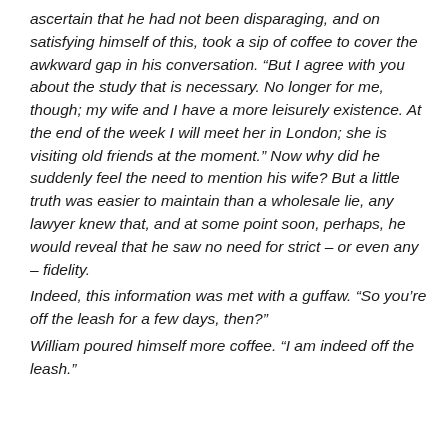ascertain that he had not been disparaging, and on satisfying himself of this, took a sip of coffee to cover the awkward gap in his conversation. “But I agree with you about the study that is necessary. No longer for me, though; my wife and I have a more leisurely existence. At the end of the week I will meet her in London; she is visiting old friends at the moment.” Now why did he suddenly feel the need to mention his wife? But a little truth was easier to maintain than a wholesale lie, any lawyer knew that, and at some point soon, perhaps, he would reveal that he saw no need for strict – or even any – fidelity.
Indeed, this information was met with a guffaw. “So you’re off the leash for a few days, then?”
William poured himself more coffee. “I am indeed off the leash.”